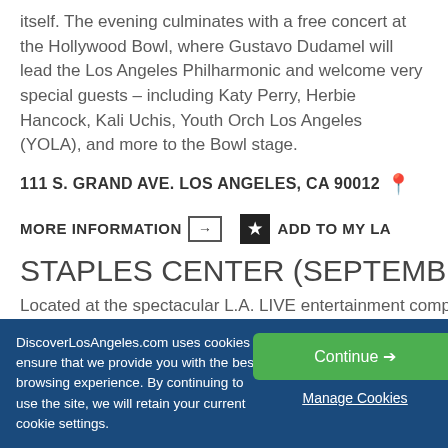itself. The evening culminates with a free concert at the Hollywood Bowl, where Gustavo Dudamel will lead the Los Angeles Philharmonic and welcome very special guests – including Katy Perry, Herbie Hancock, Kali Uchis, Youth Orchestra Los Angeles (YOLA), and more to the Bowl stage.
111 S. GRAND AVE. LOS ANGELES, CA 90012
MORE INFORMATION → ★ ADD TO MY LA
STAPLES CENTER (SEPTEMBER - NO
Located at the spectacular L.A. LIVE entertainment complex, Downtown L.A., STAPLES Center is one of L.A.'s sports me
DiscoverLosAngeles.com uses cookies to ensure that we provide you with the best browsing experience. By continuing to use the site, we will retain your current cookie settings.
Continue →
Manage Cookies